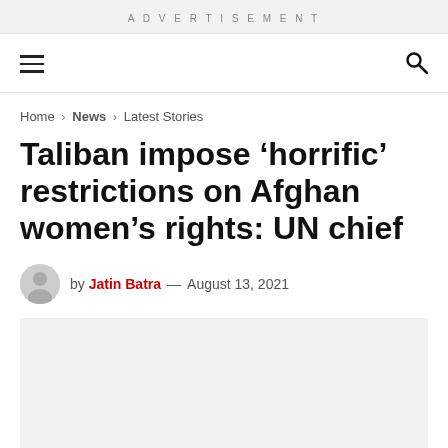ADVERTISEMENT
Home > News > Latest Stories
Taliban impose ‘horrific’ restrictions on Afghan women’s rights: UN chief
by Jatin Batra — August 13, 2021
[Figure (photo): Light grey image placeholder rectangle below the article byline]